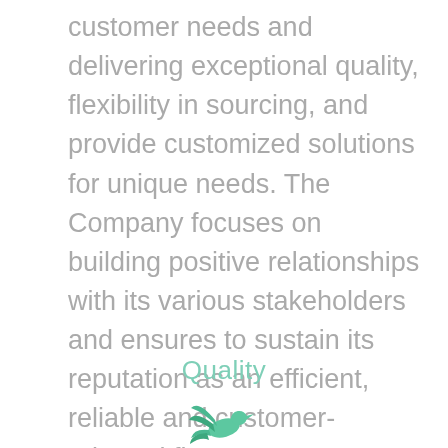customer needs and delivering exceptional quality, flexibility in sourcing, and provide customized solutions for unique needs. The Company focuses on building positive relationships with its various stakeholders and ensures to sustain its reputation as an efficient, reliable and customer-oriented firm.
Quality
[Figure (illustration): A small green/teal stylized bird icon at the bottom center of the page]